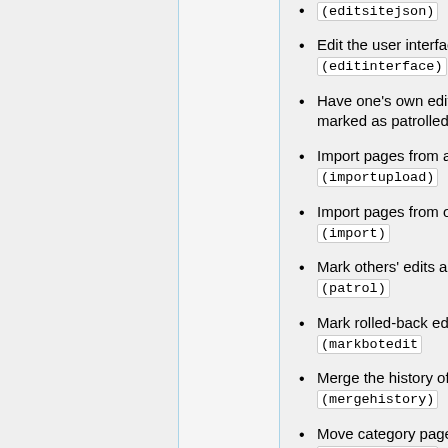(editsitejson)
Edit the user interface (editinterface)
Have one's own edits automatically marked as patrolled (autopatrolled)
Import pages from a file (importupload)
Import pages from other wikis (import)
Mark others' edits as patrolled (patrol)
Mark rolled-back edits as bot edits (markbotedits)
Merge the history of pages (mergehistory)
Move category pages (movecategorypages)
Move files (movefiles)